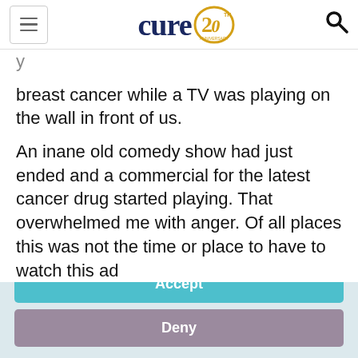cure 20th anniversary
breast cancer while a TV was playing on the wall in front of us.
An inane old comedy show had just ended and a commercial for the latest cancer drug started playing. That overwhelmed me with anger. Of all places this was not the time or place to have to watch this ad
This website stores data such as cookies to enable essential site functionality, as well as marketing, personalization, and analytics. Cookie Policy
Accept
Deny